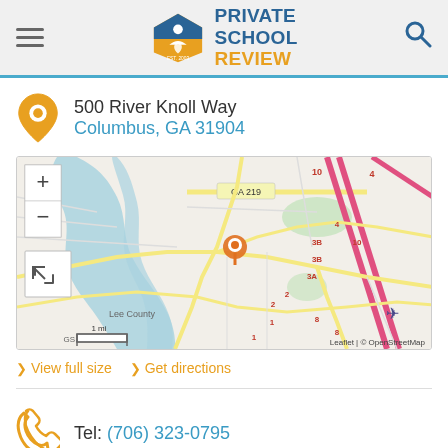Private School Review
500 River Knoll Way
Columbus, GA 31904
[Figure (map): Street map showing location at 500 River Knoll Way, Columbus, GA 31904. Map shows roads including GA 219, Lee County area, with an orange marker pin at the school location. Map attribution: Leaflet | © OpenStreetMap. Scale: 1 mi.]
View full size   Get directions
Tel: (706) 323-0795